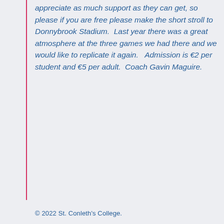appreciate as much support as they can get, so please if you are free please make the short stroll to Donnybrook Stadium.  Last year there was a great atmosphere at the three games we had there and we would like to replicate it again.   Admission is €2 per student and €5 per adult.  Coach Gavin Maguire.
© 2022 St. Conleth's College.